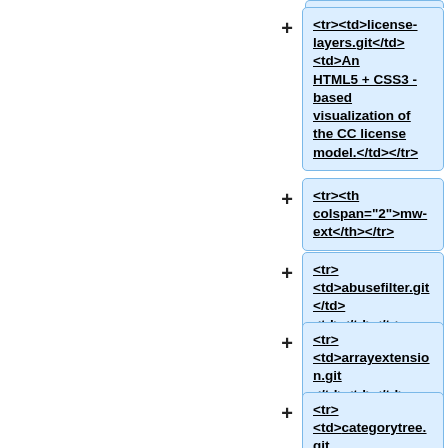<tr><td>license-layers.git</td><td>An HTML5 + CSS3 -based visualization of the CC license model.</td></tr>
<tr><th colspan="2">mw-ext</th></tr>
<tr><td>abusefilter.git </td><td></td></tr>
<tr><td>arrayextension.git </td><td></td></tr>
<tr><td>categorytree.git </td><td></td></tr>
<tr><td>cc-semantic-extensions.git </td><td></td></tr>